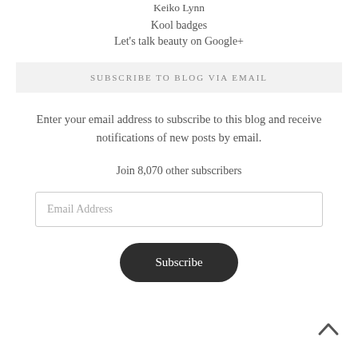Keiko Lynn
Kool badges
Let's talk beauty on Google+
SUBSCRIBE TO BLOG VIA EMAIL
Enter your email address to subscribe to this blog and receive notifications of new posts by email.
Join 8,070 other subscribers